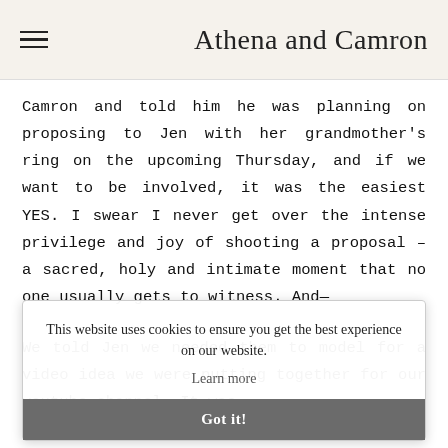Athena and Camron
Camron and told him he was planning on proposing to Jen with her grandmother's ring on the upcoming Thursday, and if we want to be involved, it was the easiest YES. I swear I never get over the intense privilege and joy of shooting a proposal – a sacred, holy and intimate moment that no one usually gets to witness. And—
We told Jen we needed them to model for a video idea we were putting together for our youtube channel. It was
This website uses cookies to ensure you get the best experience on our website. Learn more
Got it!